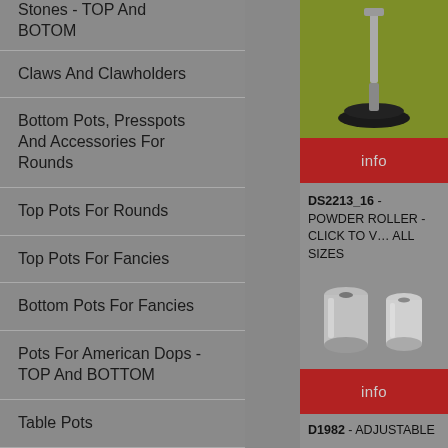Stones - TOP And BOTOM
Claws And Clawholders
Bottom Pots, Presspots And Accessories For Rounds
Top Pots For Rounds
Top Pots For Fancies
Bottom Pots For Fancies
Pots For American Dops - TOP And BOTTOM
Table Pots
Girdle Pots
[Figure (photo): Powder roller on green background, shown from below with black rubber base and metal shaft]
info
DS2213_16 - POWDER ROLLER - CLICK TO VIEW ALL SIZES
[Figure (photo): Two cylindrical metal dop pots (stainless steel) on grey background]
info
D1982 - ADJUSTABLE